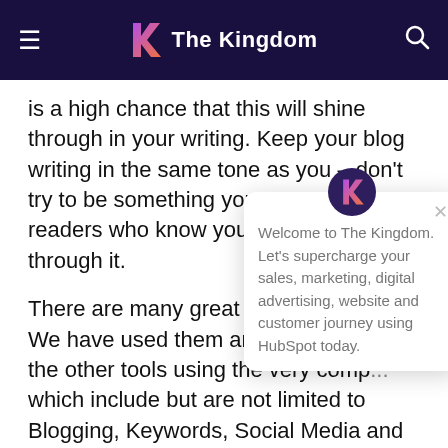The Kingdom
is a high chance that this will shine through in your writing. Keep your blog writing in the same tone as you – don't try to be something you are not. Your readers who know you will see straight through it.
There are many great tools out there. We have used them and to be honest the other tools using the very comp... which include but are not limited to Blogging, Keywords, Social Media and SEO. You see Blogging is about more than just putting words
[Figure (screenshot): Chat popup widget: Kingdom logo icon, close button (×), text 'Welcome to The Kingdom. Let's supercharge your sales, marketing, digital advertising, website and customer journey using HubSpot today.']
[Figure (infographic): Teal chat bubble button in bottom-right corner]